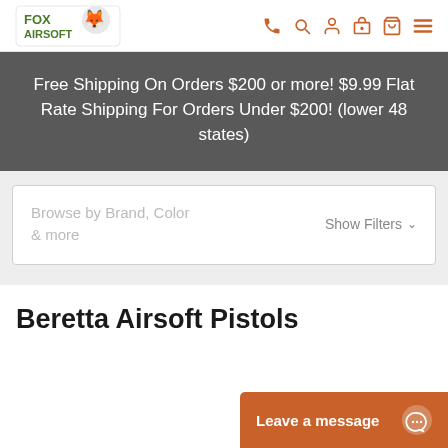[Figure (logo): Fox Airsoft logo with fox mascot graphic]
Free Shipping On Orders $200 or more! $9.99 Flat Rate Shipping For Orders Under $200! (lower 48 states)
Browse by Brand, Color & more   Show Filters
Beretta Airsoft Pistols
Leave a message